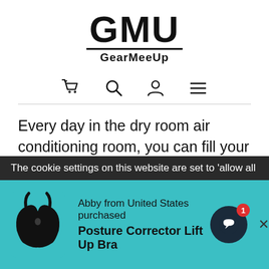[Figure (logo): GMU GearMeeUp logo with large bold GMU text above a horizontal line and GearMeeUp subtitle]
[Figure (infographic): Navigation icons: shopping cart, search magnifying glass, user/person icon, hamburger menu]
Every day in the dry room air conditioning room, you can fill your skin with enough water. The silent humidification function gives you a good night's sleep.
The cookie settings on this website are set to 'allow all
Abby from United States purchased Posture Corrector Lift Up Bra